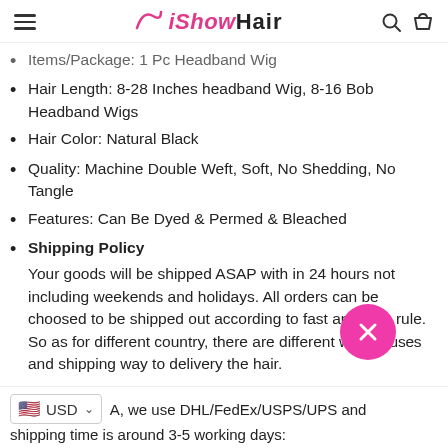iShow Hair
Items/Package: 1 Pc Headband Wig
Hair Length: 8-28 Inches headband Wig, 8-16 Bob Headband Wigs
Hair Color: Natural Black
Quality: Machine Double Weft, Soft, No Shedding, No Tangle
Features: Can Be Dyed & Permed & Bleached
Shipping Policy
Your goods will be shipped ASAP with in 24 hours not including weekends and holidays. All orders can be choosed to be shipped out according to fast and safe rule. So as for different country, there are different warehouses and shipping way to delivery the hair.
A, we use DHL/FedEx/USPS/UPS and shipping time is around 3-5 working days: